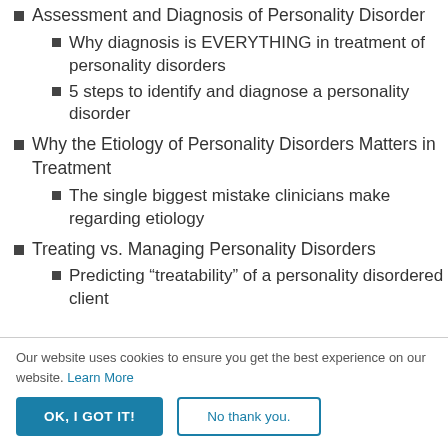Assessment and Diagnosis of Personality Disorder
Why diagnosis is EVERYTHING in treatment of personality disorders
5 steps to identify and diagnose a personality disorder
Why the Etiology of Personality Disorders Matters in Treatment
The single biggest mistake clinicians make regarding etiology
Treating vs. Managing Personality Disorders
Predicting “treatability” of a personality disordered client
Our website uses cookies to ensure you get the best experience on our website. Learn More